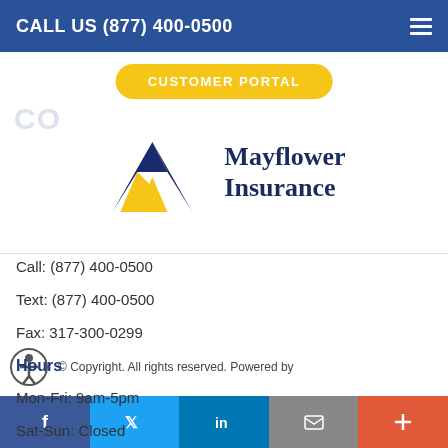CALL US (877) 400-0500
CUSTOMER PORTAL
[Figure (logo): Mayflower Insurance logo with blue and yellow mountain/M shape and text 'Mayflower Insurance']
Call: (877) 400-0500
Text: (877) 400-0500
Fax: 317-300-0299
Hours
Mon-Fri: 9am-5pm
Sat-Sun: Closed
© Copyright. All rights reserved. Powered by